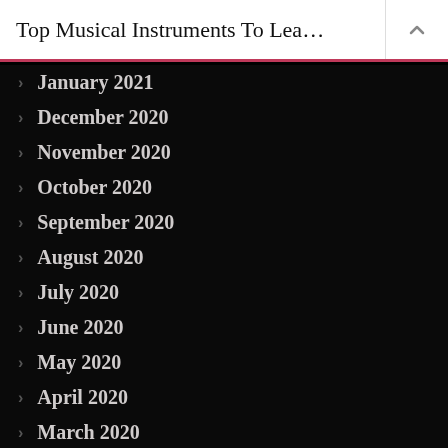Top Musical Instruments To Lea…
January 2021
December 2020
November 2020
October 2020
September 2020
August 2020
July 2020
June 2020
May 2020
April 2020
March 2020
February 2020
January 2020
December 2019
November 2019
October 2019
September 2019
August 2019